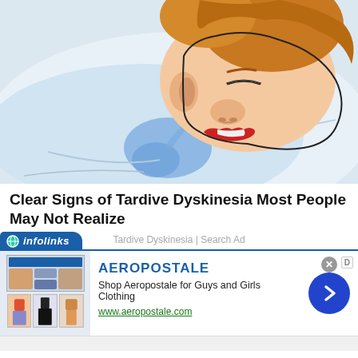[Figure (illustration): Cartoon illustration of a person sleeping on a white pillow with a blue drool spot near their mouth. The person has red lips and appears to be sleeping on their side.]
Clear Signs of Tardive Dyskinesia Most People May Not Realize
Tardive Dyskinesia | Search Ad
[Figure (screenshot): infolinks advertisement banner for Aeropostale. Shows clothing product images on the left, brand name AEROPOSTALE in blue, description 'Shop Aeropostale for Guys and Girls Clothing', URL www.aeropostale.com in green, and a blue arrow circle on the right.]